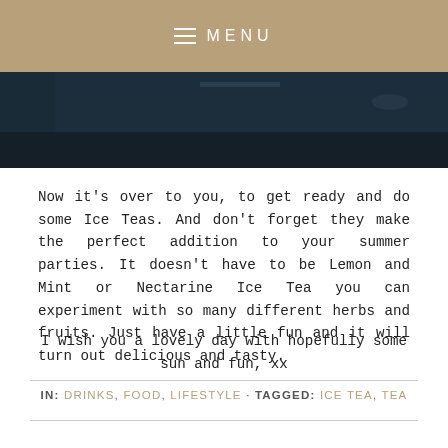MENU
[Figure (photo): Dark photograph strip showing a kitchen or bar surface]
Now it's over to you, to get ready and do some Ice Teas. And don't forget they make the perfect addition to your summer parties. It doesn't have to be Lemon and Mint or Nectarine Ice Tea you can experiment with so many different herbs and fruits. Just have a little fun and it will turn out delicious and tasty.
I wish you a lovely day with hopefully some sun and fun, xx
IN: DRINKS, FOOD, LIFESTYLE · TAGGED: ICE TEA, TEA